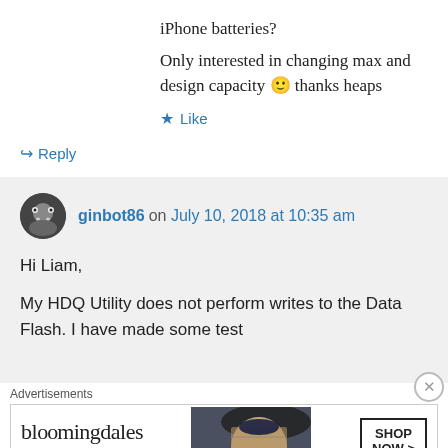iPhone batteries? Only interested in changing max and design capacity 🙂 thanks heaps
Like
Reply
ginbot86 on July 10, 2018 at 10:35 am
Hi Liam,

My HDQ Utility does not perform writes to the Data Flash. I have made some test
Advertisements
[Figure (screenshot): Bloomingdale's advertisement: 'View Today's Top Deals!' with SHOP NOW > button and image of woman in hat]